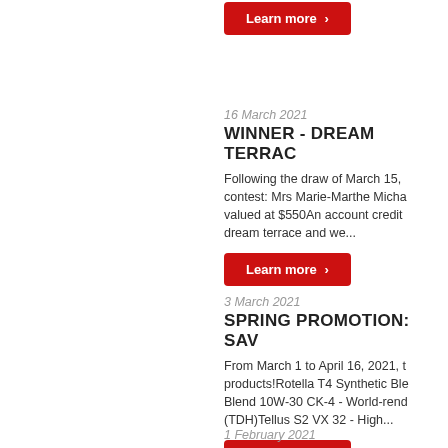Learn more >
16 March 2021
WINNER - DREAM TERRAC
Following the draw of March 15, contest: Mrs Marie-Marthe Micha valued at $550An account credit dream terrace and we...
Learn more >
3 March 2021
SPRING PROMOTION: SAV
From March 1 to April 16, 2021, t products!Rotella T4 Synthetic Ble Blend 10W-30 CK-4 - World-rend (TDH)Tellus S2 VX 32 - High...
Learn more >
1 February 2021